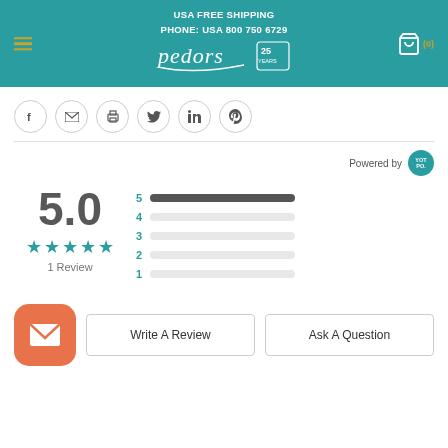USA FREE SHIPPING
PHONE: USA 800 750 6729
[Figure (logo): Pedors 25 Years logo on teal background with hamburger menu and shopping cart icon]
[Figure (infographic): Social share icons: Facebook, Email, Print, Twitter, LinkedIn, Pinterest]
Powered by YotPo
[Figure (bar-chart): Star Rating Distribution]
5.0
★★★★★
1 Review
[Figure (infographic): Write A Review button and Ask A Question button with orange envelope icon]